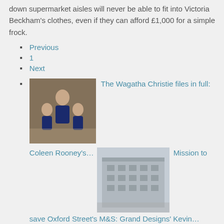down supermarket aisles will never be able to fit into Victoria Beckham's clothes, even if they can afford £1,000 for a simple frock.
Previous
1
Next
The Wagatha Christie files in full: Coleen Rooney's… Mission to save Oxford Street's M&S: Grand Designs' Kevin…
Even Kim Kardashian – Queen Big Bum herself – had to artfully arrange her fur stole over her biggest asset at the Met Ball in New York recently because she could not do the zip up on an iconic dress once worn by Marilyn Monroe.